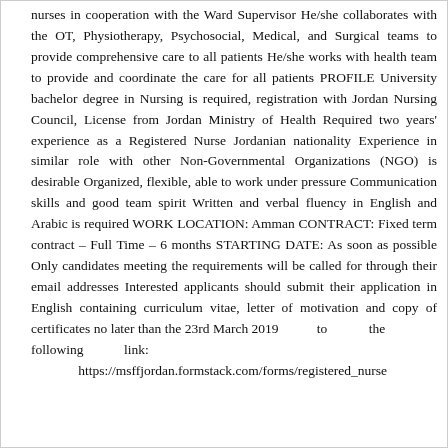nurses in cooperation with the Ward Supervisor He/she collaborates with the OT, Physiotherapy, Psychosocial, Medical, and Surgical teams to provide comprehensive care to all patients He/she works with health team to provide and coordinate the care for all patients PROFILE University bachelor degree in Nursing is required, registration with Jordan Nursing Council, License from Jordan Ministry of Health Required two years' experience as a Registered Nurse Jordanian nationality Experience in similar role with other Non-Governmental Organizations (NGO) is desirable Organized, flexible, able to work under pressure Communication skills and good team spirit Written and verbal fluency in English and Arabic is required WORK LOCATION: Amman CONTRACT: Fixed term contract – Full Time – 6 months STARTING DATE: As soon as possible Only candidates meeting the requirements will be called for through their email addresses Interested applicants should submit their application in English containing curriculum vitae, letter of motivation and copy of certificates no later than the 23rd March 2019 to the following link: https://msffjordan.formstack.com/forms/registered_nurse